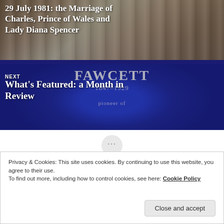[Figure (photo): Composite image: top half shows wedding photo of Charles, Prince of Wales and Lady Diana Spencer; bottom half shows a blue heritage plaque for Fawcett 1847-1929 pioneer of...]
29 July 1981: the Marriage of Charles, Prince of Wales and Lady Diana Spencer
NEXT
What's Featured: a Month in Review
Privacy & Cookies: This site uses cookies. By continuing to use this website, you agree to their use.
To find out more, including how to control cookies, see here: Cookie Policy
Close and accept